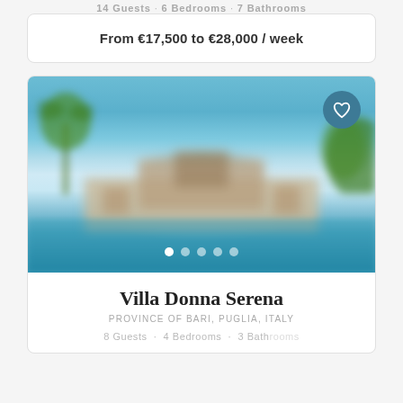14 Guests · 6 Bedrooms · 7 Bathrooms
From €17,500 to €28,000 / week
[Figure (photo): Blurred outdoor photo of Villa Donna Serena showing a swimming pool in the foreground with turquoise water, a large Italian villa/masseria building in the middle ground, palm trees on the left, and green bushes on the right under a bright blue sky. Image carousel with 5 dot indicators and a heart/favorite button in the top right corner.]
Villa Donna Serena
PROVINCE OF BARI, PUGLIA, ITALY
8 Guests · 4 Bedrooms · 3 Bathrooms